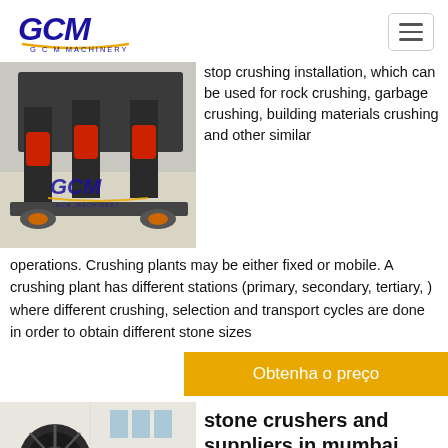GCM Machinery
[Figure (photo): Industrial cone crusher machines with red hydraulic cylinders on a factory floor, with GCM Machinery logo overlay]
stop crushing installation, which can be used for rock crushing, garbage crushing, building materials crushing and other similar operations. Crushing plants may be either fixed or mobile. A crushing plant has different stations (primary, secondary, tertiary, ) where different crushing, selection and transport cycles are done in order to obtain different stone sizes
Obtenha o preço
[Figure (photo): Large jaw crusher machine in a factory/warehouse setting]
stone crushers and suppliers in mumbai